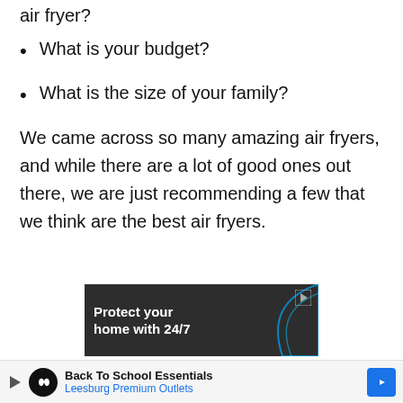air fryer?
What is your budget?
What is the size of your family?
We came across so many amazing air fryers, and while there are a lot of good ones out there, we are just recommending a few that we think are the best air fryers.
[Figure (screenshot): Advertisement banner with dark background showing 'Protect your home with 24/7' text and a blue curved line graphic, with a small play icon in the top right.]
[Figure (screenshot): Bottom advertisement bar: play icon, circular black logo with infinity symbol, 'Back To School Essentials' title, 'Leesburg Premium Outlets' subtitle in blue, and a blue diamond-shaped arrow icon on the right.]